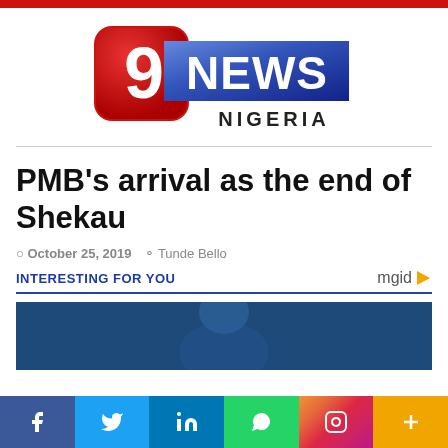[Figure (logo): 9News Nigeria logo — red square with white '9', blue banner with white 'NEWS', and 'NIGERIA' text below]
PMB's arrival as the end of Shekau
October 25, 2019   Tunde Bello
INTERESTING FOR YOU
[Figure (photo): Promotional image thumbnail for mgid content widget]
[Figure (infographic): Social sharing bar with Facebook, Twitter, LinkedIn, WhatsApp, Instagram, and more buttons]